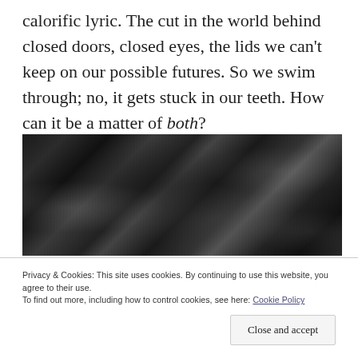calorific lyric. The cut in the world behind closed doors, closed eyes, the lids we can't keep on our possible futures. So we swim through; no, it gets stuck in our teeth. How can it be a matter of both?
[Figure (photo): Dark, grainy black-and-white photograph showing blurry figures or objects in low light, with high contrast between dark and light areas.]
Privacy & Cookies: This site uses cookies. By continuing to use this website, you agree to their use. To find out more, including how to control cookies, see here: Cookie Policy